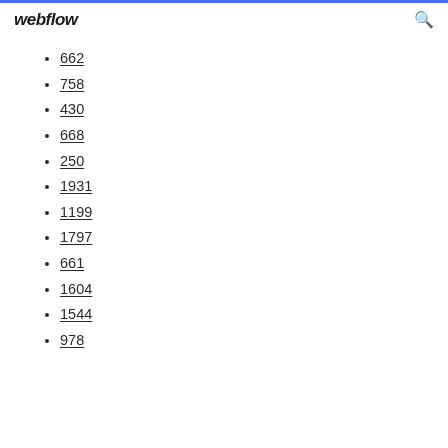webflow
662
758
430
668
250
1931
1199
1797
661
1604
1544
978